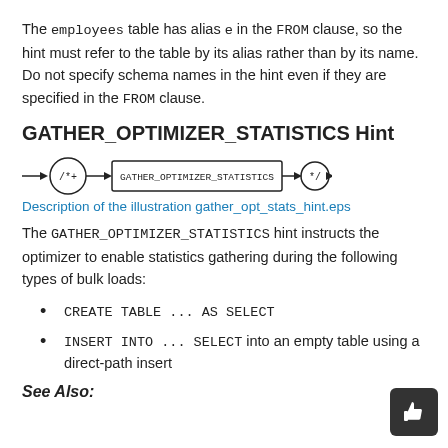The employees table has alias e in the FROM clause, so the hint must refer to the table by its alias rather than by its name. Do not specify schema names in the hint even if they are specified in the FROM clause.
GATHER_OPTIMIZER_STATISTICS Hint
[Figure (schematic): Railroad/syntax diagram showing: arrow -> circle labeled /*+ -> rectangle labeled GATHER_OPTIMIZER_STATISTICS -> circle labeled */ -> arrow]
Description of the illustration gather_opt_stats_hint.eps
The GATHER_OPTIMIZER_STATISTICS hint instructs the optimizer to enable statistics gathering during the following types of bulk loads:
CREATE TABLE ... AS SELECT
INSERT INTO ... SELECT into an empty table using a direct-path insert
See Also: